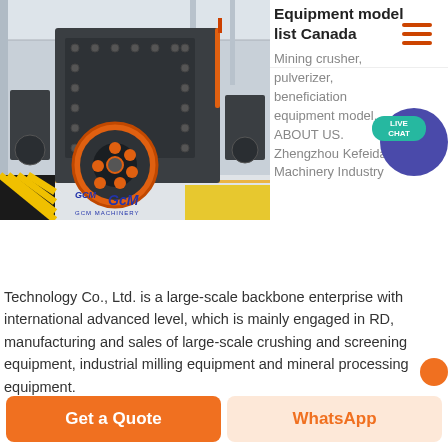[Figure (logo): GCM MACHINERY logo with blue italic text and gold underline]
[Figure (photo): Large industrial mining crusher/hammer mill machine in a warehouse, with GCM Machinery branding overlay]
Equipment model list Canada
Mining crusher, pulverizer, beneficiation equipment model. ABOUT US. Zhengzhou Kefeida Machinery Industry Technology Co., Ltd. is a large-scale backbone enterprise with international advanced level, which is mainly engaged in RD, manufacturing and sales of large-scale crushing and screening equipment, industrial milling equipment and mineral processing equipment.
Get a Quote
WhatsApp